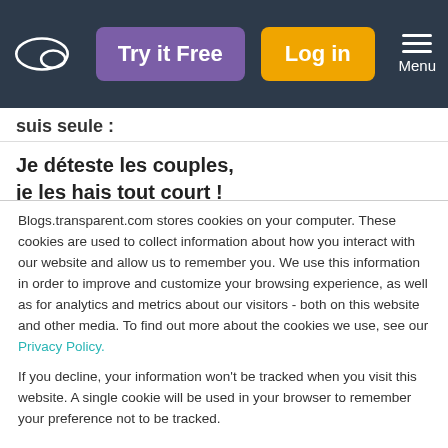Try it Free | Log in | Menu
suis seule :
Je déteste les couples, je les hais tout court !   I hate couples, I hate them period!
Blogs.transparent.com stores cookies on your computer. These cookies are used to collect information about how you interact with our website and allow us to remember you. We use this information in order to improve and customize your browsing experience, as well as for analytics and metrics about our visitors - both on this website and other media. To find out more about the cookies we use, see our Privacy Policy.
If you decline, your information won't be tracked when you visit this website. A single cookie will be used in your browser to remember your preference not to be tracked.
Accept   Decline